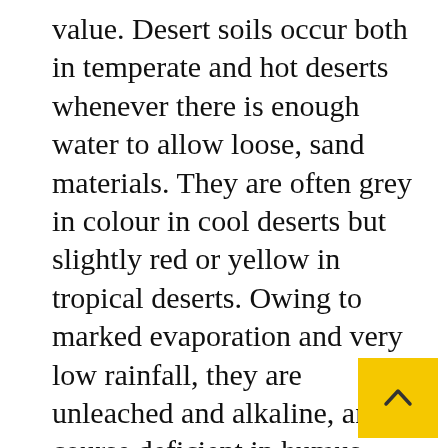value. Desert soils occur both in temperate and hot deserts whenever there is enough water to allow loose, sand materials. They are often grey in colour in cool deserts but slightly red or yellow in tropical deserts. Owing to marked evaporation and very low rainfall, they are unleached and alkaline, and of course deficient in humus. They can support good crop yield under irrigation except in some places where there is a tendency for salts to crystallize settle on the surface.